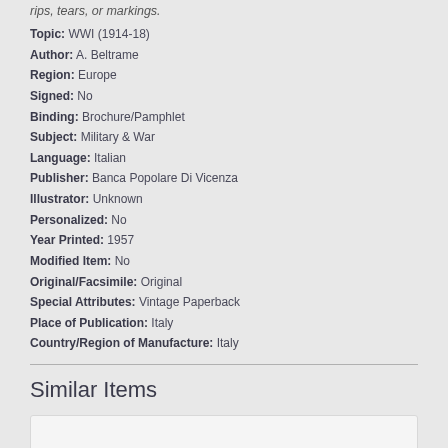rips, tears, or markings.
Topic: WWI (1914-18)
Author: A. Beltrame
Region: Europe
Signed: No
Binding: Brochure/Pamphlet
Subject: Military & War
Language: Italian
Publisher: Banca Popolare Di Vicenza
Illustrator: Unknown
Personalized: No
Year Printed: 1957
Modified Item: No
Original/Facsimile: Original
Special Attributes: Vintage Paperback
Place of Publication: Italy
Country/Region of Manufacture: Italy
Similar Items